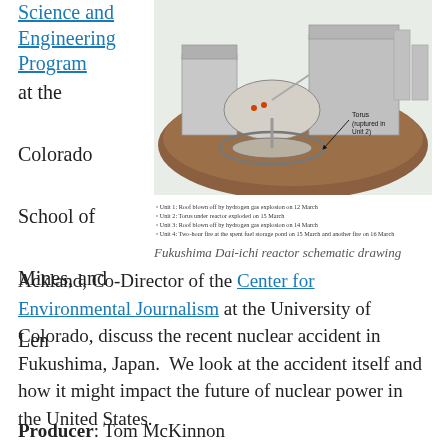Science and Engineering Program at the Colorado School of Mines, and Len
[Figure (schematic): Fukushima Dai-ichi reactor cutaway schematic showing the torus (ruptured in Unit 2) and other structural components]
Fukushima Dai-ichi reactor schematic drawing
Ackland, Co-Director of the Center for Environmental Journalism at the University of Colorado, discuss the recent nuclear accident in Fukushima, Japan.  We look at the accident itself and how it might impact the future of nuclear power in the United States.
Producer: Tom McKinnon